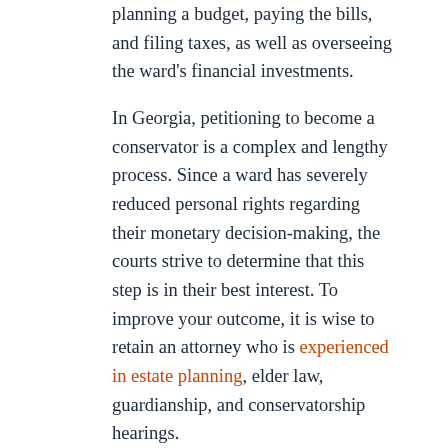planning a budget, paying the bills, and filing taxes, as well as overseeing the ward's financial investments.
In Georgia, petitioning to become a conservator is a complex and lengthy process. Since a ward has severely reduced personal rights regarding their monetary decision-making, the courts strive to determine that this step is in their best interest. To improve your outcome, it is wise to retain an attorney who is experienced in estate planning, elder law, guardianship, and conservatorship hearings.
Take Over Your Elderly Parent's Financial Responsibilities
When you need to establish a conservatorship over a family member, an elder law attorney